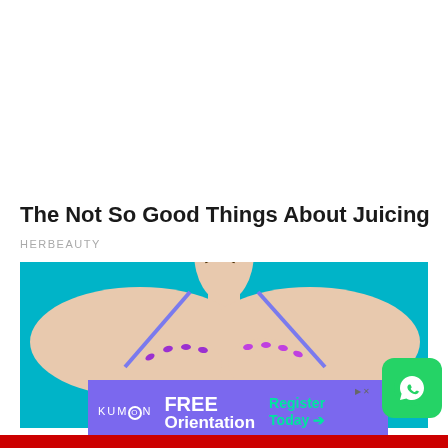The Not So Good Things About Juicing
HERBEAUTY
[Figure (photo): Woman from neck down on teal/turquoise background, wearing a light blue bikini top, with both hands placed on her chest, purple manicured nails]
[Figure (infographic): Kumon advertisement banner: purple background with white KUMON logo, FREE Orientation text, and green Register Today arrow text]
[Figure (logo): WhatsApp green rounded square icon with white phone in chat bubble]